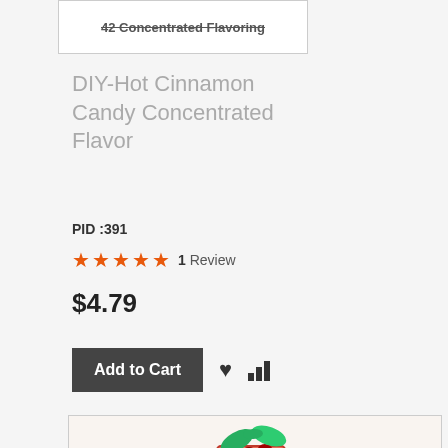[Figure (screenshot): Partial product image at top, partially cut off, showing text about concentrated flavoring]
DIY-Hot Cinnamon Candy Concentrated Flavor
PID :391
★★★★★ 1 Review
$4.79
Add to Cart
[Figure (photo): A tall glass of red/orange cocktail with mint leaves and a lemon/orange slice garnish, on a light background. A Comodo EV SSL security badge is overlaid in the bottom left corner.]